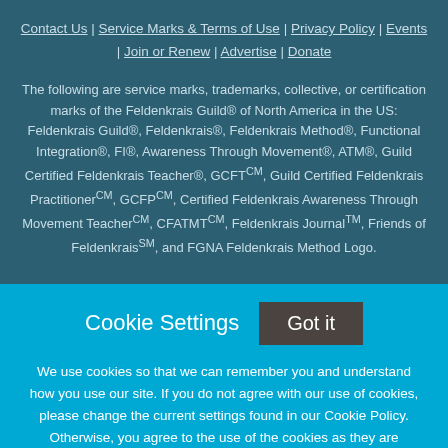Contact Us | Service Marks & Terms of Use | Privacy Policy | Events | Join or Renew | Advertise | Donate
The following are service marks, trademarks, collective, or certification marks of the Feldenkrais Guild® of North America in the US: Feldenkrais Guild®, Feldenkrais®, Feldenkrais Method®, Functional Integration®, FI®, Awareness Through Movement®, ATM®, Guild Certified Feldenkrais Teacher®, GCFTCM, Guild Certified Feldenkrais PractitionerCM, GCFPCM, Certified Feldenkrais Awareness Through Movement TeacherCM, CFATMTCM, Feldenkrais JournalTM, Friends of FeldenkraisSM, and FGNA Feldenkrais Method Logo.
Cookie Settings  Got it
We use cookies so that we can remember you and understand how you use our site. If you do not agree with our use of cookies, please change the current settings found in our Cookie Policy. Otherwise, you agree to the use of the cookies as they are currently set.